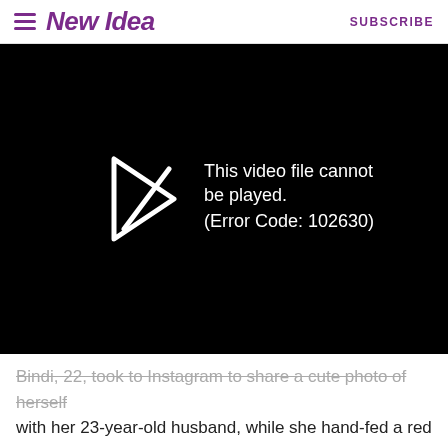New Idea | SUBSCRIBE
[Figure (screenshot): Black video player showing error message: 'This video file cannot be played. (Error Code: 102630)' with a play arrow icon on the left.]
Bindi, 22, took to Instagram to share a cute photo of herself with her 23-year-old husband, while she hand-fed a red